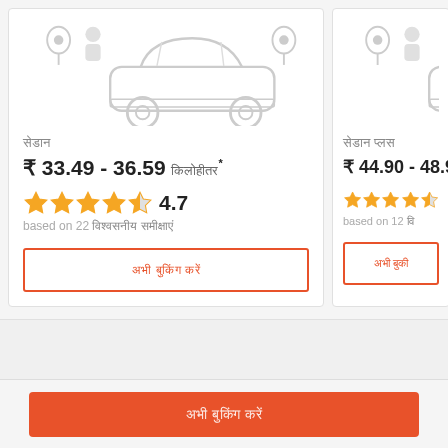[Figure (illustration): Car listing card 1 with car illustration, price ₹33.49 - 36.59, rating 4.7 based on 22 reviews, and book button]
[Figure (illustration): Car listing card 2 (partially visible) with car illustration, price ₹44.90 - 48.9x, rating stars based on 12 reviews, and book button]
₹ 33.49 - 36.59 *
4.7
based on 22 reviews
₹ 44.90 - 48.9x
based on 12 reviews